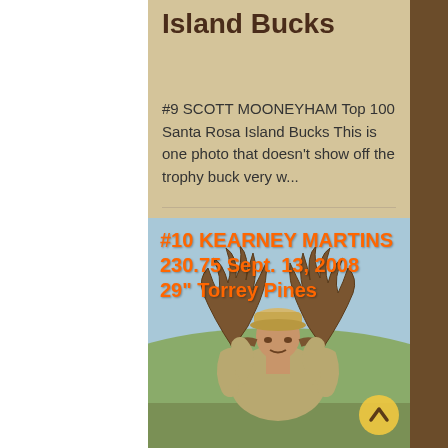Island Bucks
#9 SCOTT MOONEYHAM Top 100 Santa Rosa Island Bucks This is one photo that doesn't show off the trophy buck very w...
[Figure (photo): Hunter kneeling behind large trophy mule deer buck with massive antlers on a hillside, wearing camouflage clothing and tan cap. Orange text overlay reads: #10 KEARNEY MARTINS 230.75 Sept. 13, 2008 29" Torrey Pines]
#10 KEARNEY MARTINS 230.75 Sept. 13, 2008 29" Torrey Pines